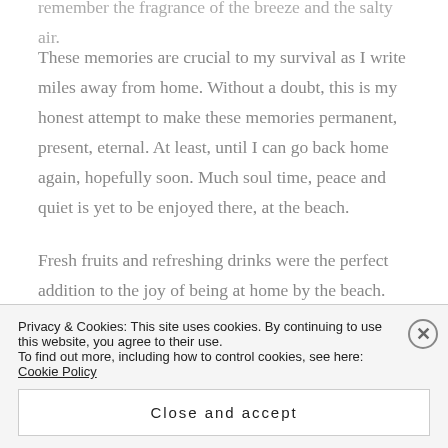remember the fragrance of the breeze and the salty air.
These memories are crucial to my survival as I write miles away from home. Without a doubt, this is my honest attempt to make these memories permanent, present, eternal. At least, until I can go back home again, hopefully soon. Much soul time, peace and quiet is yet to be enjoyed there, at the beach.
Fresh fruits and refreshing drinks were the perfect addition to the joy of being at home by the beach. Freshly made lemonade was a daily treat at
Privacy & Cookies: This site uses cookies. By continuing to use this website, you agree to their use.
To find out more, including how to control cookies, see here: Cookie Policy
Close and accept